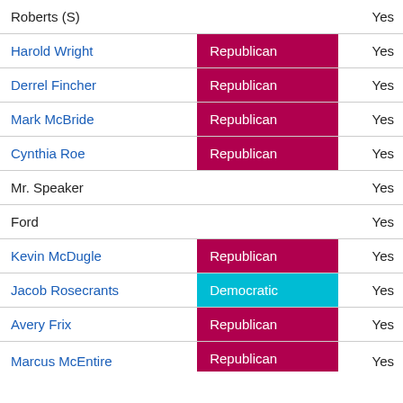| Name | Party | Vote |
| --- | --- | --- |
| Roberts (S) |  | Yes |
| Harold Wright | Republican | Yes |
| Derrel Fincher | Republican | Yes |
| Mark McBride | Republican | Yes |
| Cynthia Roe | Republican | Yes |
| Mr. Speaker |  | Yes |
| Ford |  | Yes |
| Kevin McDugle | Republican | Yes |
| Jacob Rosecrants | Democratic | Yes |
| Avery Frix | Republican | Yes |
| Marcus McEntire | Republican | Yes |